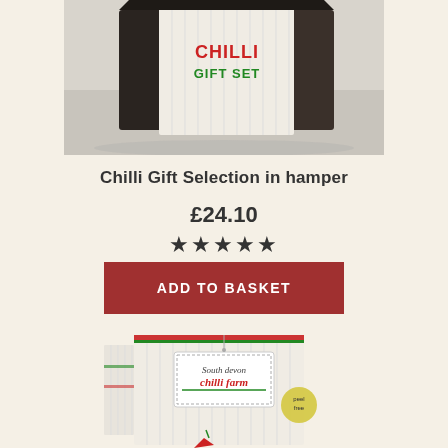[Figure (photo): Chilli Gift Set box - dark brown outer box with white striped inner box labeled CHILLI GIFT SET in red and green text, placed on a light wooden surface]
Chilli Gift Selection in hamper
£24.10
★★★★★
ADD TO BASKET
[Figure (photo): South Devon Chilli Farm product box - white box with vertical stripes and a hanging sign logo reading South devon chilli farm, with a peel free badge and chilli illustrations]